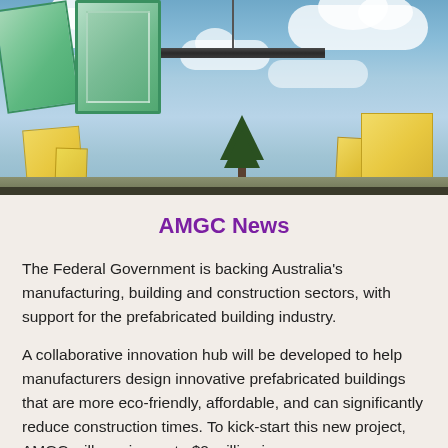[Figure (photo): Construction site photo showing large prefabricated green wall panels being lifted by a crane against a blue sky with clouds. Yellow foam panels visible at ground level on the sides, with a conifer tree in the background.]
AMGC News
The Federal Government is backing Australia's manufacturing, building and construction sectors, with support for the prefabricated building industry.
A collaborative innovation hub will be developed to help manufacturers design innovative prefabricated buildings that are more eco-friendly, affordable, and can significantly reduce construction times. To kick-start this new project, AMGC will receive up to $2 million in...